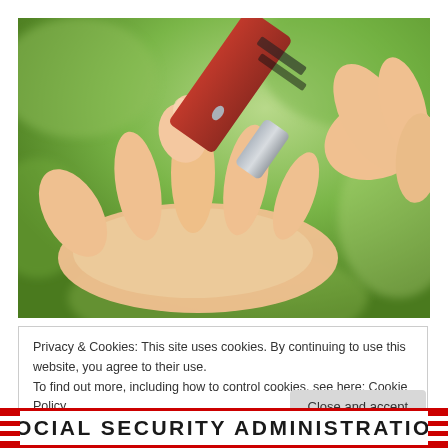[Figure (photo): Close-up photo of a hand with a finger being pricked by a lancet device for a blood glucose test. The background is blurred green. A red and silver lancing device is visible in the upper right.]
Privacy & Cookies: This site uses cookies. By continuing to use this website, you agree to their use.
To find out more, including how to control cookies, see here: Cookie Policy
Close and accept
SOCIAL SECURITY ADMINISTRATION